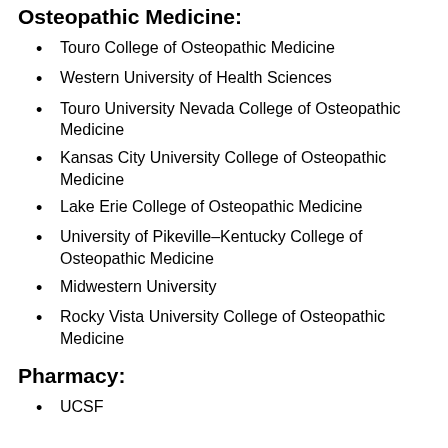Osteopathic Medicine:
Touro College of Osteopathic Medicine
Western University of Health Sciences
Touro University Nevada College of Osteopathic Medicine
Kansas City University College of Osteopathic Medicine
Lake Erie College of Osteopathic Medicine
University of Pikeville–Kentucky College of Osteopathic Medicine
Midwestern University
Rocky Vista University College of Osteopathic Medicine
Pharmacy:
UCSF